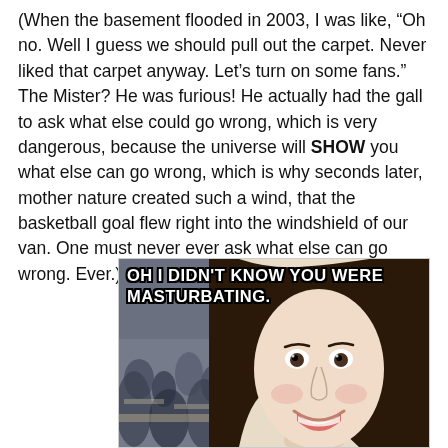(When the basement flooded in 2003, I was like, “Oh no. Well I guess we should pull out the carpet. Never liked that carpet anyway. Let’s turn on some fans.” The Mister? He was furious! He actually had the gall to ask what else could go wrong, which is very dangerous, because the universe will SHOW you what else can go wrong, which is why seconds later, mother nature created such a wind, that the basketball goal flew right into the windshield of our van. One must never ever ask what else can go wrong. Ever.)
[Figure (photo): Internet meme image (Overly Attached Girlfriend) with white bold text overlay reading 'OH I DIDN'T KNOW YOU WERE MASTURBATING.' The image shows a young woman with long brown hair smiling with wide eyes, with a blurred crowd or classroom in the background on the left side.]